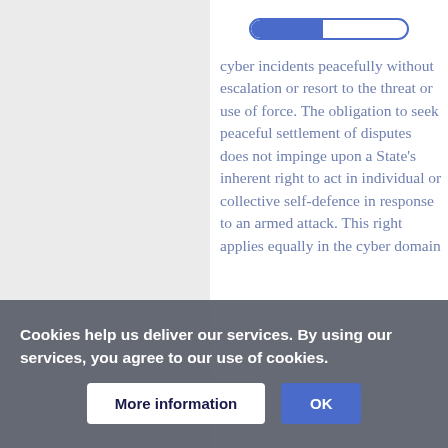[Figure (other): Progress bar showing approximately 45% completion, blue fill on white background with blue border]
cyber incidents peacefully without escalation or resort to the threat or use of force. The obligation to seek peaceful settlement of disputes does not impinge upon a State's inherent right to act in individual or collective self-defence in response to an armed attack. This right applies equally in the cyber domain
Cookies help us deliver our services. By using our services, you agree to our use of cookies.
More information  OK